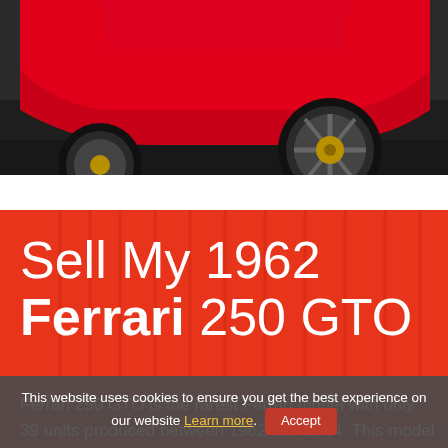[Figure (photo): Partial view of a red Ferrari 250 GTO showing the rear wheel and lower body against a dark background]
Sell My 1962 Ferrari 250 GTO
Ferrari 250 GTO is the rarest Ferrari model with only 39 units produced between 1962 and 1964. This model is a craft of engineer Scaglietti and outstanding for ever winning 3 FIFA World Championships in consecutive
This website uses cookies to ensure you get the best experience on our website Learn more. Accept